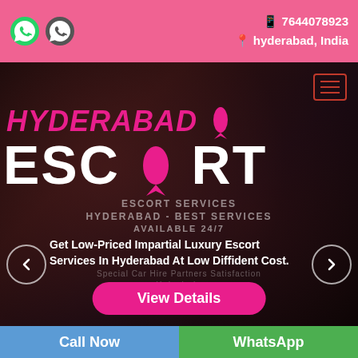7644078923 | hyderabad, India
[Figure (screenshot): Website screenshot showing a Hyderabad escort service page with hero image of a woman, large text HYDERABAD ESCORT, contact info, navigation arrows, View Details button, and Call Now / WhatsApp footer bar]
HYDERABAD ESCORT
Get Low-Priced Impartial Luxury Escort Services In Hyderabad At Low Diffident Cost.
Call Now | WhatsApp